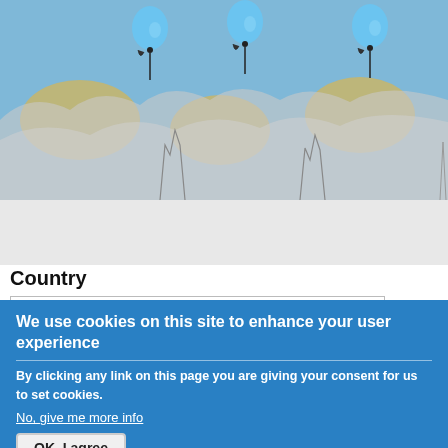[Figure (map): Interactive world map with blue background showing geographic regions with cloud/snow overlay and balloon pin markers positioned over the map]
Country
Afghanistan
We use cookies on this site to enhance your user experience
By clicking any link on this page you are giving your consent for us to set cookies.
No, give me more info
OK, I agree